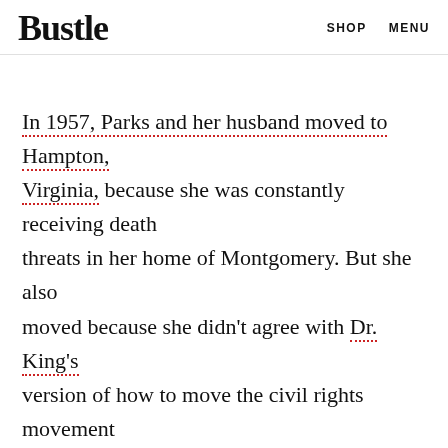Bustle   SHOP   MENU
In 1957, Parks and her husband moved to Hampton, Virginia, because she was constantly receiving death threats in her home of Montgomery. But she also moved because she didn't agree with Dr. King's version of how to move the civil rights movement forward.
ADVERTISEMENT
AD